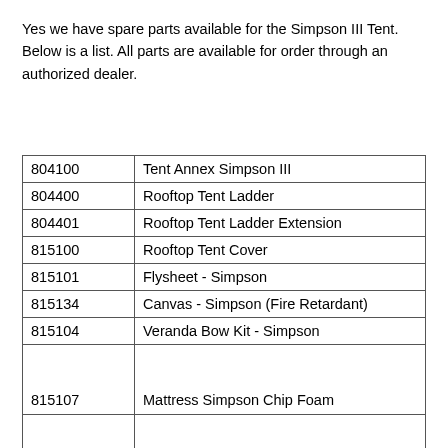Yes we have spare parts available for the Simpson III Tent. Below is a list. All parts are available for order through an authorized dealer.
| 804100 | Tent Annex Simpson III |
| 804400 | Rooftop Tent Ladder |
| 804401 | Rooftop Tent Ladder Extension |
| 815100 | Rooftop Tent Cover |
| 815101 | Flysheet - Simpson |
| 815134 | Canvas - Simpson (Fire Retardant) |
| 815104 | Veranda Bow Kit - Simpson |
| 815107 | Mattress Simpson Chip Foam |
| 815109 | Mattress Cover - For use with Simpson |